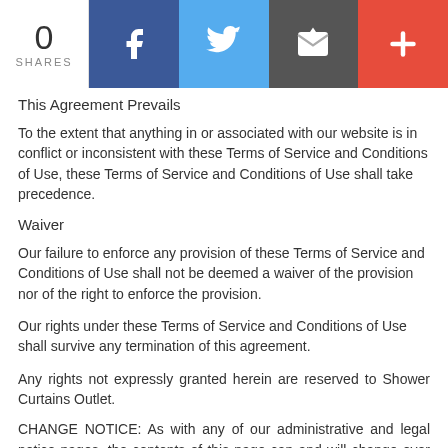[Figure (infographic): Social share bar with share count (0 SHARES), Facebook button, Twitter button, email/envelope button, and plus/more button]
This Agreement Prevails
To the extent that anything in or associated with our website is in conflict or inconsistent with these Terms of Service and Conditions of Use, these Terms of Service and Conditions of Use shall take precedence.
Waiver
Our failure to enforce any provision of these Terms of Service and Conditions of Use shall not be deemed a waiver of the provision nor of the right to enforce the provision.
Our rights under these Terms of Service and Conditions of Use shall survive any termination of this agreement.
Any rights not expressly granted herein are reserved to Shower Curtains Outlet.
CHANGE NOTICE: As with any of our administrative and legal notice pages, the contents of this page can and will change over time. Accordingly, this page could read differently than at your most recent visit. The changes...